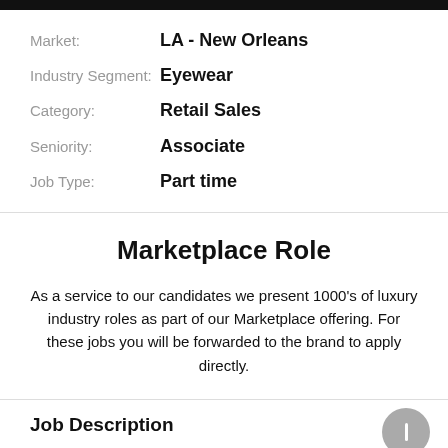Market: LA - New Orleans
Industry Segment: Eyewear
Category: Retail Sales
Seniority: Associate
Job Type: Part time
Marketplace Role
As a service to our candidates we present 1000's of luxury industry roles as part of our Marketplace offering. For these jobs you will be forwarded to the brand to apply directly.
Job Description